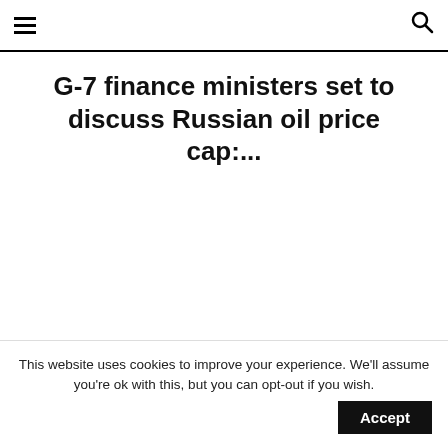≡  🔍
G-7 finance ministers set to discuss Russian oil price cap:...
SOCIAL MEDIA ACCOUNTS
FACEBOOK   TWITTER
This website uses cookies to improve your experience. We'll assume you're ok with this, but you can opt-out if you wish. Accept